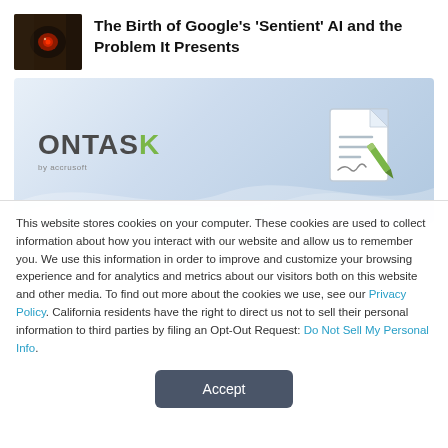The Birth of Google's 'Sentient' AI and the Problem It Presents
[Figure (illustration): ONTASK by accrusoft logo with document signing icon on light blue gradient background with wave design]
This website stores cookies on your computer. These cookies are used to collect information about how you interact with our website and allow us to remember you. We use this information in order to improve and customize your browsing experience and for analytics and metrics about our visitors both on this website and other media. To find out more about the cookies we use, see our Privacy Policy. California residents have the right to direct us not to sell their personal information to third parties by filing an Opt-Out Request: Do Not Sell My Personal Info.